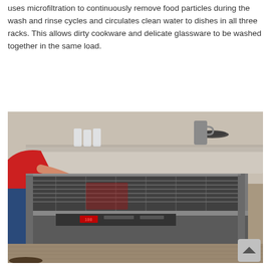uses microfiltration to continuously remove food particles during the wash and rinse cycles and circulates clean water to dishes in all three racks. This allows dirty cookware and delicate glassware to be washed together in the same load.
[Figure (photo): A person in a red shirt and jeans pulls open the door of a stainless steel dishwasher built into a kitchen island with a stone countertop. The dishwasher interior with racks is visible. Wood-look flooring in background.]